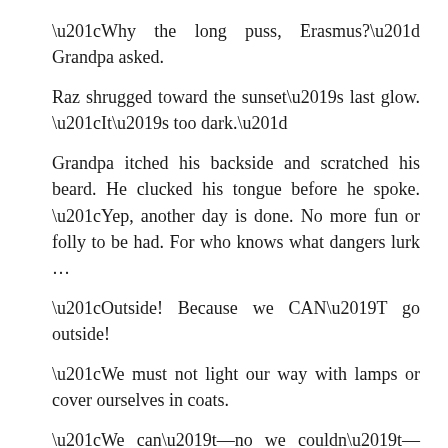“Why the long puss, Erasmus?” Grandpa asked.
Raz shrugged toward the sunset’s last glow. “It’s too dark.”
Grandpa itched his backside and scratched his beard. He clucked his tongue before he spoke. “Yep, another day is done. No more fun or folly to be had. For who knows what dangers lurk …
“Outside! Because we CAN’T go outside!
“We must not light our way with lamps or cover ourselves in coats.
“We can’t—no we couldn’t—slip and trip into the night and listen for owls, or sniff for skunks, or feel which way the wind is blowing.
“We couldn’t, no we shouldn’t, count how many bats zip past …